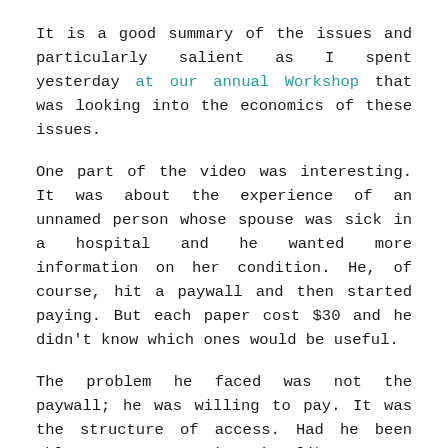It is a good summary of the issues and particularly salient as I spent yesterday at our annual Workshop that was looking into the economics of these issues.
One part of the video was interesting. It was about the experience of an unnamed person whose spouse was sick in a hospital and he wanted more information on her condition. He, of course, hit a paywall and then started paying. But each paper cost $30 and he didn't know which ones would be useful.
The problem he faced was not the paywall; he was willing to pay. It was the structure of access. Had he been able to access a University library